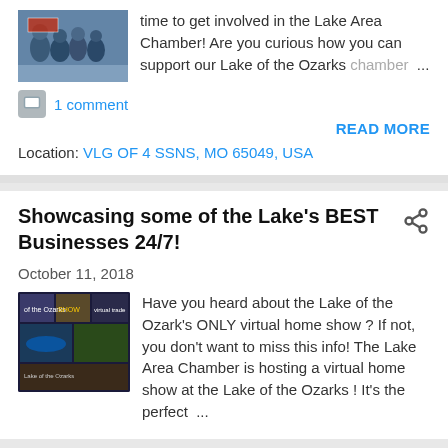[Figure (photo): Thumbnail photo of people at a Lake Area Chamber event]
time to get involved in the Lake Area Chamber! Are you curious how you can support our Lake of the Ozarks chamber ...
1 comment
READ MORE
Location: VLG OF 4 SSNS, MO 65049, USA
Showcasing some of the Lake's BEST Businesses 24/7!
October 11, 2018
[Figure (photo): Thumbnail image related to Lake of the Ozarks virtual home show]
Have you heard about the Lake of the Ozark's ONLY virtual home show ? If not, you don't want to miss this info! The Lake Area Chamber is hosting a virtual home show at the Lake of the Ozarks ! It's the perfect ...